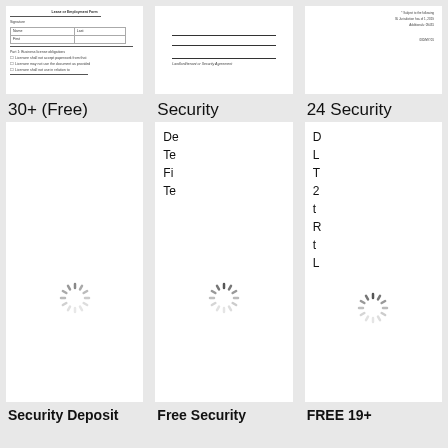[Figure (screenshot): Thumbnail of a legal form document with lines, table, and checkboxes]
[Figure (screenshot): Thumbnail of a security deposit agreement form with signature lines]
[Figure (screenshot): Thumbnail of a security agreement form with address and date fields]
30+ (Free)
Security
24 Security
De
Te
Fi
Te
D
L
T
2
t
R
t
L
Security Deposit
Free Security
FREE 19+